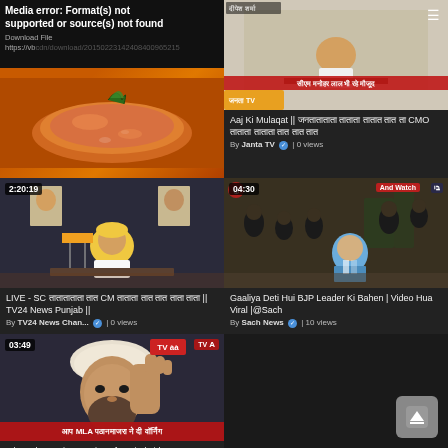[Figure (screenshot): Video thumbnail showing media error with food image (orange soup/curry dish). Text: 'Media error: Format(s) not supported or source(s) not found'. Download File link shown.]
[Figure (screenshot): News video thumbnail showing a person at desk with red ticker 'सीएम मनोहर लाल भी रहे मौजूद'. Hamburger menu icon top right.]
Aaj Ki Mulaqat || जनताताताता ताताता तातात तात ता CMO ताताता ताताता तात तात तात
By Janta TV ✓ | 0 views
[Figure (screenshot): Video thumbnail duration 2:20:19. Live stream of politician in yellow vest seated at desk with Indian flags and portraits behind him.]
[Figure (screenshot): Video thumbnail duration 04:30. And Watch badge. People outdoors, man in blue jacket in center.]
LIVE - SC ताताताताता तात CM ताताता तात तात ताता ताता || TV24 News Punjab ||
By TV24 News Chan... ✓ | 0 views
Gaaliya Deti Hui BJP Leader Ki Bahen | Video Hua Viral |@Sach
By Sach News ✓ | 10 views
[Figure (screenshot): Video thumbnail duration 03:49. TV channel badge. Close-up of Sikh man in white turban raising hand. Red bottom bar: आप MLA पठानमाजरा ने दी वॉर्निंग]
mla pathanmajra warning after viral video - TV24 PUNJAB